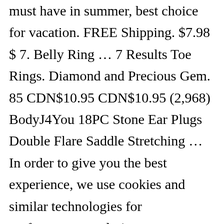must have in summer, best choice for vacation. FREE Shipping. $7.98 $ 7. Belly Ring … 7 Results Toe Rings. Diamond and Precious Gem. 85 CDN$10.95 CDN$10.95 (2,968) BodyJ4You 18PC Stone Ear Plugs Double Flare Saddle Stretching … In order to give you the best experience, we use cookies and similar technologies for performance, analytics, personalisation, advertising, and to help our site function. Elastic Comfortable ring bring ultimate comfortable wearing experience. 14k Gold Filled 1mm Thin Wire Plain Band Adjustable Toe